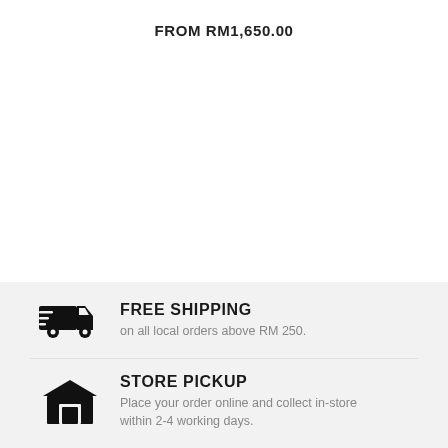FROM RM1,650.00
FREE SHIPPING
on all local orders above RM 250.
STORE PICKUP
Place your order online and collect in-store within 2-4 working days.